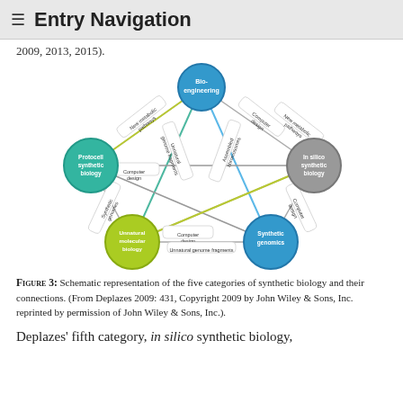≡ Entry Navigation
2009, 2013, 2015).
[Figure (network-graph): Schematic pentagon diagram showing five categories of synthetic biology: Bio-engineering (top, blue circle), Protocell synthetic biology (left, teal circle), In silico synthetic biology (right, gray circle), Unnatural molecular biology (bottom-left, green circle), Synthetic genomics (bottom-right, blue circle). Lines connect all five nodes in a pentagram pattern, labeled with connection types: New metabolic pathways, Computer design, Unnatural genome fragments, Assembled chromosomes, Synthetic genomes, Computer design, Unnatural genome fragments, Computer design, Assembled chromosomes, New metabolic pathways, Computer design, Synthetic genomes.]
Figure 3: Schematic representation of the five categories of synthetic biology and their connections. (From Deplazes 2009: 431, Copyright 2009 by John Wiley & Sons, Inc. reprinted by permission of John Wiley & Sons, Inc.).
Deplazes' fifth category, in silico synthetic biology,